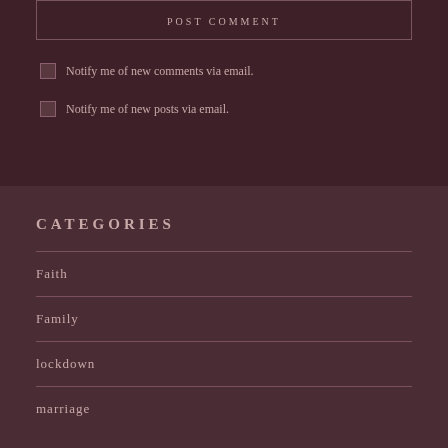POST COMMENT
Notify me of new comments via email.
Notify me of new posts via email.
CATEGORIES
Faith
Family
lockdown
marriage